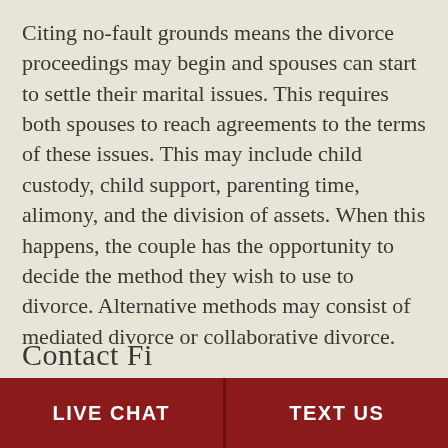Citing no-fault grounds means the divorce proceedings may begin and spouses can start to settle their marital issues. This requires both spouses to reach agreements to the terms of these issues. This may include child custody, child support, parenting time, alimony, and the division of assets. When this happens, the couple has the opportunity to decide the method they wish to use to divorce. Alternative methods may consist of mediated divorce or collaborative divorce.
Contact Fi…
LIVE CHAT | TEXT US